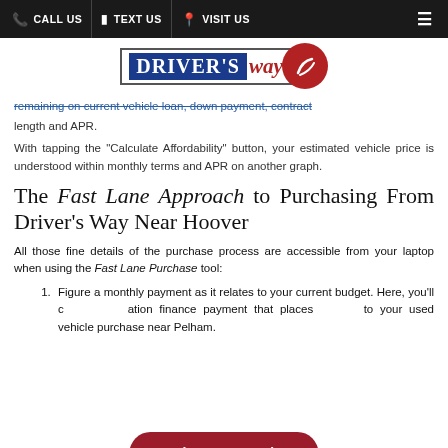CALL US | TEXT US | VISIT US
[Figure (logo): Driver's Way logo with blue rectangle text DRIVER'S and red italic 'way' with red circle]
remaining on current vehicle loan, down payment, contract length and APR.
With tapping the "Calculate Affordability" button, your estimated vehicle price is understood within monthly terms and APR on another graph.
The Fast Lane Approach to Purchasing From Driver's Way Near Hoover
All those fine details of the purchase process are accessible from your laptop when using the Fast Lane Purchase tool:
Figure a monthly payment as it relates to your current budget. Here, you'll create a situation finance payment that places relative to your used vehicle purchase near Pelham.